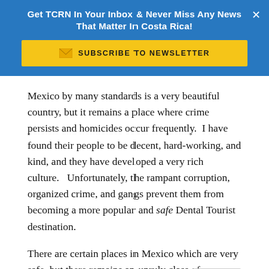Get TCRN In Your Inbox & Never Miss Any News That Matter In Costa Rica!
Mexico by many standards is a very beautiful country, but it remains a place where crime persists and homicides occur frequently.  I have found their people to be decent, hard-working, and kind, and they have developed a very rich culture.   Unfortunately, the rampant corruption, organized crime, and gangs prevent them from becoming a more popular and safe Dental Tourist destination.
There are certain places in Mexico which are very safe, but there remains an unruly class of narco-traffickers nearby which makes doing business there an unpredictable proposition.  And